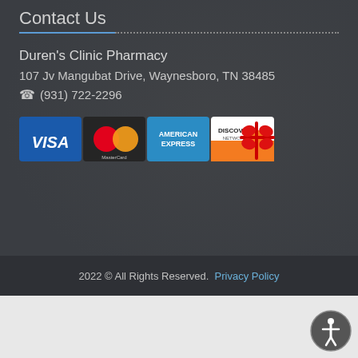Contact Us
Duren's Clinic Pharmacy
107 Jv Mangubat Drive, Waynesboro, TN 38485
(931) 722-2296
[Figure (infographic): Payment method logos: Visa, MasterCard, American Express, Discover Network, and a gift card graphic]
2022 © All Rights Reserved. Privacy Policy